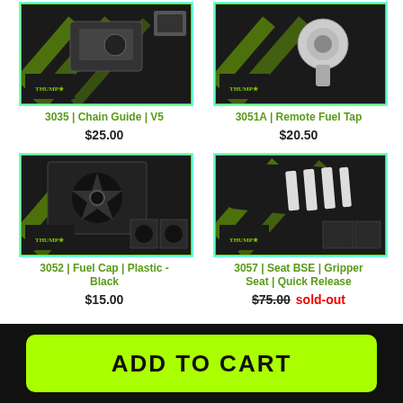[Figure (photo): Product photo: 3035 Chain Guide V5 with Thumpstar branding]
3035 | Chain Guide | V5
$25.00
[Figure (photo): Product photo: 3051A Remote Fuel Tap with Thumpstar branding]
3051A | Remote Fuel Tap
$20.50
[Figure (photo): Product photo: 3052 Fuel Cap Plastic Black with Thumpstar branding]
3052 | Fuel Cap | Plastic - Black
$15.00
[Figure (photo): Product photo: 3057 Seat BSE Gripper Seat Quick Release with Thumpstar branding]
3057 | Seat BSE | Gripper Seat | Quick Release
$75.00 sold-out
ADD TO CART